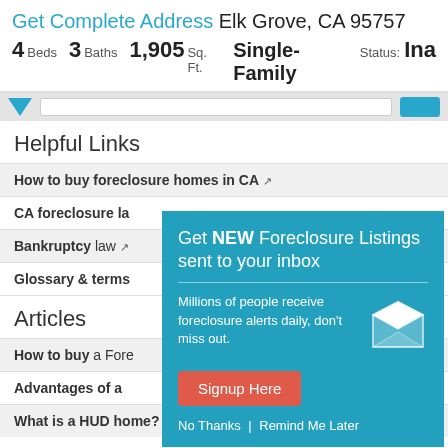Get Complete Address Elk Grove, CA 95757 4 Beds 3 Baths 1,905 Sq. Ft. Single-Family Status: Ina
Helpful Links
How to buy foreclosure homes in CA
CA foreclosure la
Bankruptcy law
Glossary & terms
Articles
How to buy a Fore
Advantages of a
What is a HUD home?
[Figure (screenshot): Popup modal with teal background: 'Get NEW Foreclosure Listings sent to your inbox' with signup form. Contains 'Signup Here' red button, mail icon, and 'No Thanks | Remind Me Later' links.]